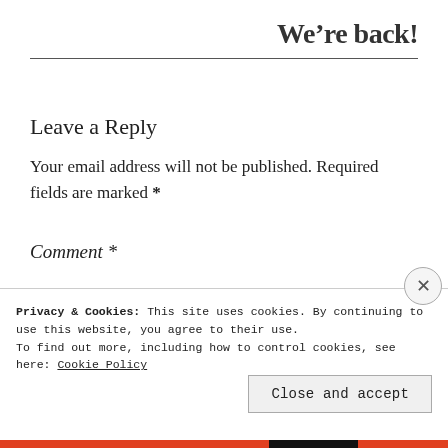We’re back!
Leave a Reply
Your email address will not be published. Required fields are marked *
Comment *
Privacy & Cookies: This site uses cookies. By continuing to use this website, you agree to their use.
To find out more, including how to control cookies, see here: Cookie Policy